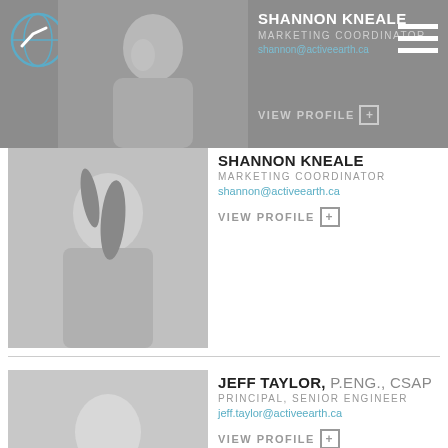Active Earth Engineering Ltd — site header with logo and navigation
[Figure (photo): Black and white headshot of Shannon Kneale, a woman with long dark hair]
SHANNON KNEALE
MARKETING COORDINATOR
shannon@activeearth.ca
VIEW PROFILE +
[Figure (photo): Black and white headshot of Jeff Taylor, a man in a suit smiling]
JEFF TAYLOR, P.ENG., CSAP
PRINCIPAL, SENIOR ENGINEER
jeff.taylor@activeearth.ca
VIEW PROFILE +
[Figure (photo): Black and white headshot of Jovi Brar, a man in a suit]
JOVI BRAR, P.ENG.
PROJECT SCIENTIST
jovi@activeearth.ca
VIEW PROFILE +